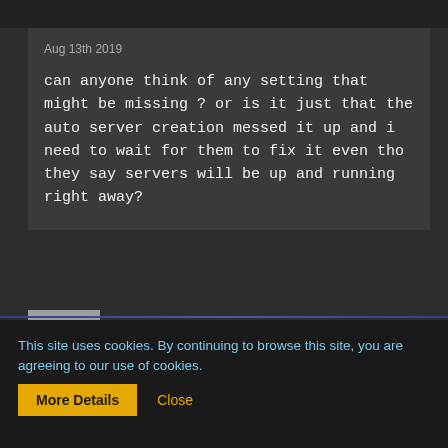Aug 13th 2019
can anyone think of any setting that might be missing ? or is it just that the auto server creation messed it up and i need to wait for them to fix it even tho they say servers will be up and running right away?
IAEM234
Customer
This site uses cookies. By continuing to browse this site, you are agreeing to our use of cookies.
More Details
Close